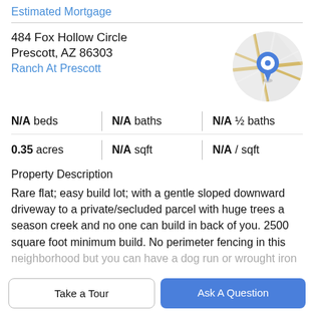Estimated Mortgage
484 Fox Hollow Circle
Prescott, AZ 86303
Ranch At Prescott
[Figure (map): Circular map thumbnail showing street map with a blue location pin marker in the center.]
| N/A beds | N/A baths | N/A ½ baths |
| 0.35 acres | N/A sqft | N/A / sqft |
Property Description
Rare flat; easy build lot; with a gentle sloped downward driveway to a private/secluded parcel with huge trees a season creek and no one can build in back of you. 2500 square foot minimum build. No perimeter fencing in this neighborhood but you can have a dog run or wrought iron
Take a Tour
Ask A Question